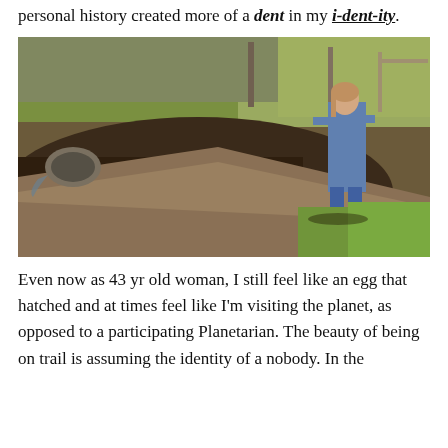personal history created more of a dent in my i-dent-ity.
[Figure (photo): Vintage photograph of a young girl in a blue tracksuit standing near a pond or water feature with a drainage pipe, trees and grass in the background.]
Even now as 43 yr old woman, I still feel like an egg that hatched and at times feel like I'm visiting the planet, as opposed to a participating Planetarian. The beauty of being on trail is assuming the identity of a nobody. In the